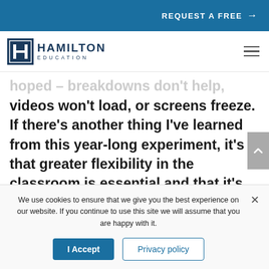REQUEST A FREE →
[Figure (logo): Hamilton Education logo with H icon and text]
hoped – breakdowns don't help, videos won't load, or screens freeze. If there's another thing I've learned from this year-long experiment, it's that greater flexibility in the classroom is essential and that it's never a bad idea
We use cookies to ensure that we give you the best experience on our website. If you continue to use this site we will assume that you are happy with it.
I Accept
Privacy policy